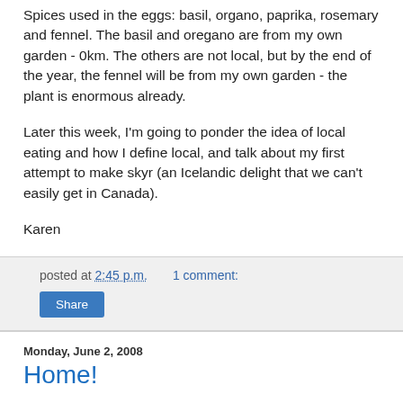Spices used in the eggs: basil, organo, paprika, rosemary and fennel. The basil and oregano are from my own garden - 0km. The others are not local, but by the end of the year, the fennel will be from my own garden - the plant is enormous already.
Later this week, I'm going to ponder the idea of local eating and how I define local, and talk about my first attempt to make skyr (an Icelandic delight that we can't easily get in Canada).
Karen
posted at 2:45 p.m.    1 comment:
Share
Monday, June 2, 2008
Home!
We're home again and the garden is full of riotus colour (and